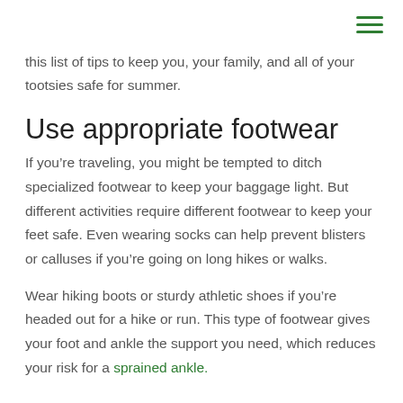this list of tips to keep you, your family, and all of your tootsies safe for summer.
Use appropriate footwear
If you’re traveling, you might be tempted to ditch specialized footwear to keep your baggage light. But different activities require different footwear to keep your feet safe. Even wearing socks can help prevent blisters or calluses if you’re going on long hikes or walks.
Wear hiking boots or sturdy athletic shoes if you’re headed out for a hike or run. This type of footwear gives your foot and ankle the support you need, which reduces your risk for a sprained ankle.